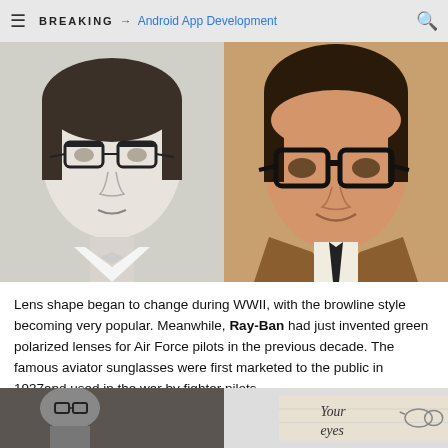BREAKING → Android App Development
[Figure (photo): Black and white photo of a woman wearing browline glasses, white collared shirt with bow, vintage style]
[Figure (photo): Color vintage photo of a man wearing thick black-framed glasses, wearing a suit and tie, smiling]
Lens shape began to change during WWII, with the browline style becoming very popular. Meanwhile, Ray-Ban had just invented green polarized lenses for Air Force pilots in the previous decade. The famous aviator sunglasses were first marketed to the public in 1937and used in the war by fighter pilots.
[Figure (photo): Black and white photo, bottom left, person wearing glasses outdoors]
[Figure (photo): Vintage advertisement or text, cursive text reading 'Your eyes', showing aviator sunglasses]